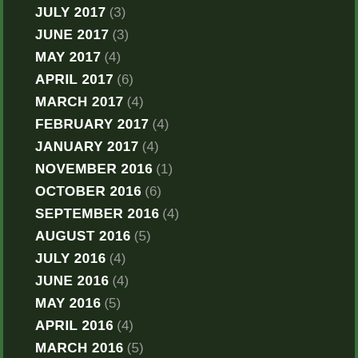JULY 2017 (3)
JUNE 2017 (3)
MAY 2017 (4)
APRIL 2017 (6)
MARCH 2017 (4)
FEBRUARY 2017 (4)
JANUARY 2017 (4)
NOVEMBER 2016 (1)
OCTOBER 2016 (6)
SEPTEMBER 2016 (4)
AUGUST 2016 (5)
JULY 2016 (4)
JUNE 2016 (4)
MAY 2016 (5)
APRIL 2016 (4)
MARCH 2016 (5)